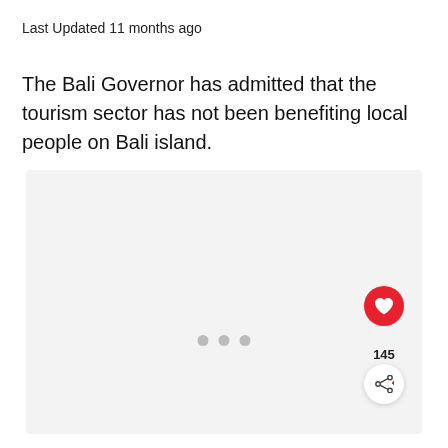Last Updated 11 months ago
The Bali Governor has admitted that the tourism sector has not been benefiting local people on Bali island.
[Figure (other): A light gray image placeholder box with three gray dots centered near the bottom, indicating a loading or empty media slot. A red circular like button with a heart icon is overlaid at the bottom right, showing a count of 145, and a white share button below it.]